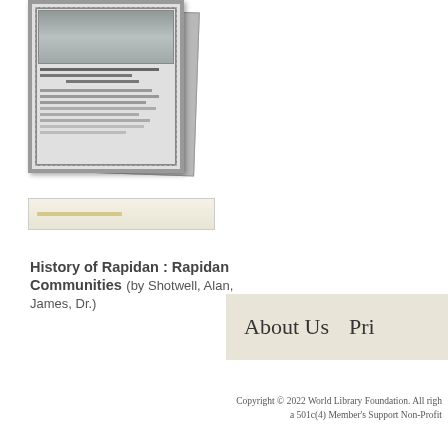[Figure (illustration): Thumbnail image of a book cover for 'History of Rapidan: Rapidan Communities' showing a decorative border and document-style layout with faded photograph at top]
History of Rapidan : Rapidan Communities (by Shotwell, Alan, James, Dr.)
About Us   Pri
Copyright © 2022 World Library Foundation. All righ
a 501c(4) Member's Support Non-Profit